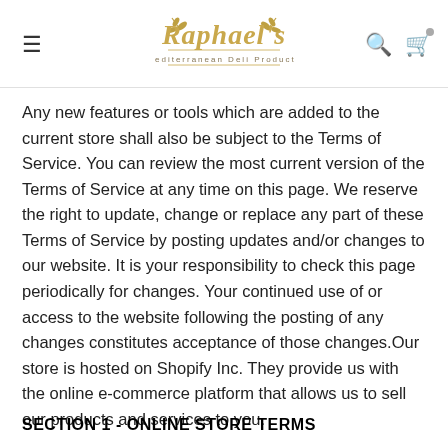Raphael's Mediterranean Deli Products
Any new features or tools which are added to the current store shall also be subject to the Terms of Service. You can review the most current version of the Terms of Service at any time on this page. We reserve the right to update, change or replace any part of these Terms of Service by posting updates and/or changes to our website. It is your responsibility to check this page periodically for changes. Your continued use of or access to the website following the posting of any changes constitutes acceptance of those changes.Our store is hosted on Shopify Inc. They provide us with the online e-commerce platform that allows us to sell our products and services to you.
SECTION 1 - ONLINE STORE TERMS